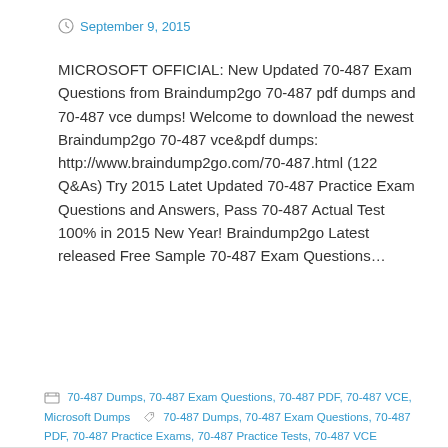September 9, 2015
MICROSOFT OFFICIAL: New Updated 70-487 Exam Questions from Braindump2go 70-487 pdf dumps and 70-487 vce dumps! Welcome to download the newest Braindump2go 70-487 vce&pdf dumps: http://www.braindump2go.com/70-487.html (122 Q&As) Try 2015 Latet Updated 70-487 Practice Exam Questions and Answers, Pass 70-487 Actual Test 100% in 2015 New Year! Braindump2go Latest released Free Sample 70-487 Exam Questions…
Continue reading →
70-487 Dumps, 70-487 Exam Questions, 70-487 PDF, 70-487 VCE, Microsoft Dumps    70-487 Dumps, 70-487 Exam Questions, 70-487 PDF, 70-487 Practice Exams, 70-487 Practice Tests, 70-487 VCE